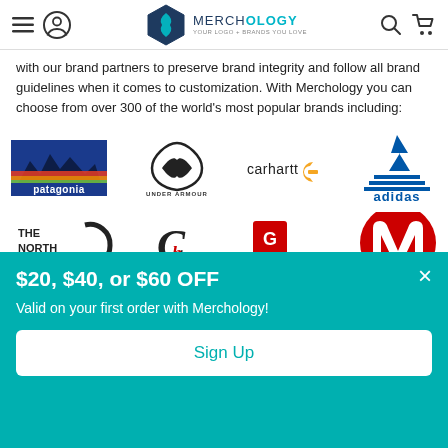Merchology — Your Logo + Brands You Love
with our brand partners to preserve brand integrity and follow all brand guidelines when it comes to customization. With Merchology you can choose from over 300 of the world's most popular brands including:
[Figure (logo): Brand logos: Patagonia, Under Armour, Carhartt, Adidas]
[Figure (logo): Brand logos: The North Face, Champion, and Motorola (partially visible)]
$20, $40, or $60 OFF
Valid on your first order with Merchology!
Sign Up